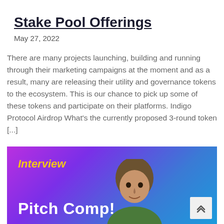Stake Pool Offerings
May 27, 2022
There are many projects launching, building and running through their marketing campaigns at the moment and as a result, many are releasing their utility and governance tokens to the ecosystem. This is our chance to pick up some of these tokens and participate on their platforms. Indigo Protocol Airdrop What's the currently proposed 3-round token [...]
[Figure (photo): Banner image with purple-to-blue gradient background showing text 'Interview' in yellow italic and 'Pitch Comp!' in large white bold text, with a person's photo on the right side]